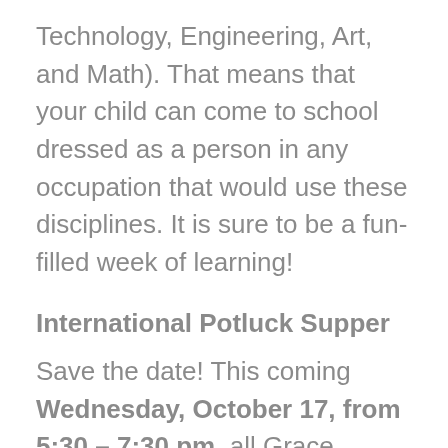Technology, Engineering, Art, and Math). That means that your child can come to school dressed as a person in any occupation that would use these disciplines. It is sure to be a fun-filled week of learning!
International Potluck Supper
Save the date! This coming Wednesday, October 17, from 5:30 – 7:30 pm, all Grace Christian School and Grace Baptist Church families